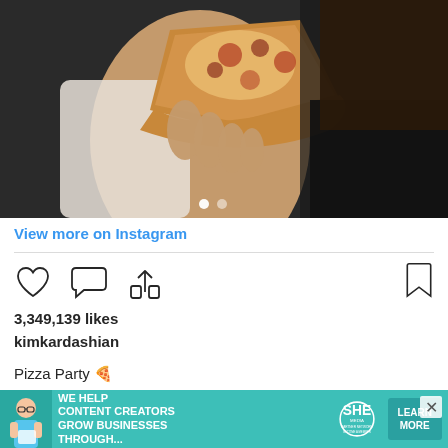[Figure (photo): A person holding a slice of pizza close to the camera. The person is wearing a white top and there is another person in a black outfit visible in the background. Carousel navigation dots are visible at the bottom.]
View more on Instagram
3,349,139 likes
kimkardashian
Pizza Party 🍕
view all 11,954 comments
[Figure (infographic): SHE Media advertisement banner. Text: WE HELP CONTENT CREATORS GROW BUSINESSES THROUGH... SHE PARTNER NETWORK BECOME A MEMBER. Learn More button. Photo of a woman with glasses holding a tablet on the left.]